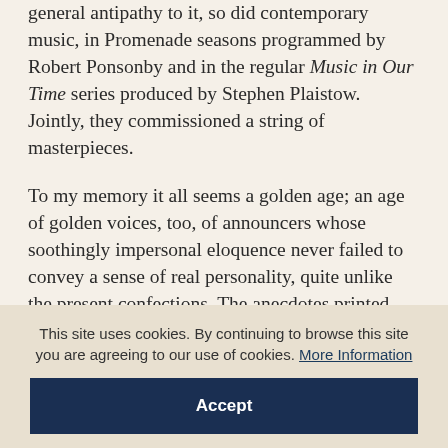general antipathy to it, so did contemporary music, in Promenade seasons programmed by Robert Ponsonby and in the regular Music in Our Time series produced by Stephen Plaistow. Jointly, they commissioned a string of masterpieces.
To my memory it all seems a golden age; an age of golden voices, too, of announcers whose soothingly impersonal eloquence never failed to convey a sense of real personality, quite unlike the present confections. The anecdotes printed here from Tom Crowe, Patricia Hughes, Tony Scotland,
This site uses cookies. By continuing to browse this site you are agreeing to our use of cookies. More Information
Accept